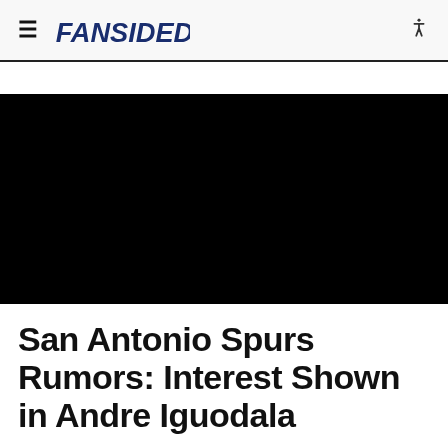FanSided
[Figure (photo): Black/blank hero image area]
San Antonio Spurs Rumors: Interest Shown in Andre Iguodala